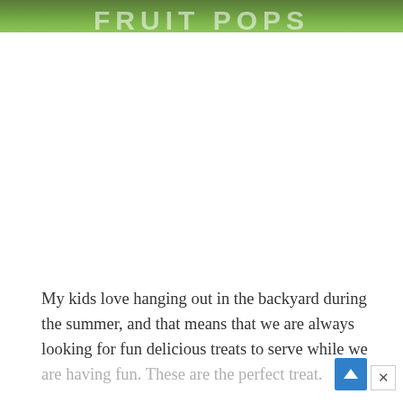[Figure (photo): Cropped top portion of an outdoor photo showing green grass background with large partial decorative text/logo overlay, partially cut off at the top of the page.]
My kids love hanging out in the backyard during the summer, and that means that we are always looking for fun delicious treats to serve while we are having fun. These are the perfect treat.